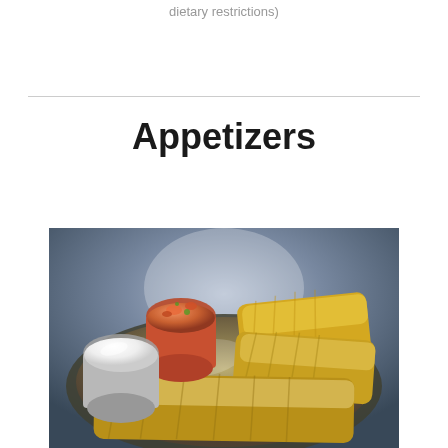dietary restrictions)
Appetizers
[Figure (photo): A plate of tamales served with sides of salsa and sour cream, photographed on a dark blue-grey background]